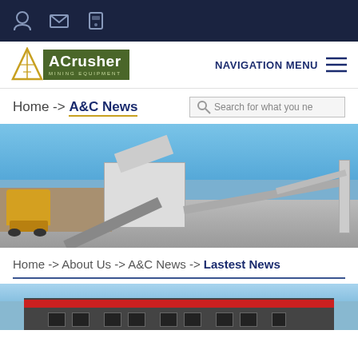Top navigation bar with icons: user, email, phone
[Figure (logo): ACrusher Mining Equipment logo with triangle icon and green background]
NAVIGATION MENU
Home -> A&C News
Search for what you need
[Figure (photo): Outdoor photo of large mobile crushing/screening equipment at a mining site, yellow wheel loader on the left, blue sky background]
Home -> About Us -> A&C News -> Lastest News
[Figure (photo): Partial photo of a multi-story industrial or office building with red horizontal stripe and dark facade]